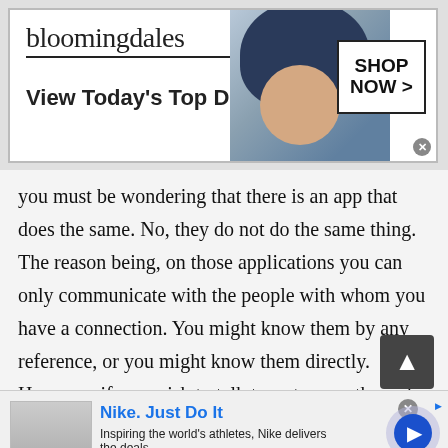[Figure (screenshot): Bloomingdales advertisement banner with logo, 'View Today's Top Deals!' tagline, model in hat, and SHOP NOW button]
you must be wondering that there is an app that does the same. No, they do not do the same thing. The reason being, on those applications you can only communicate with the people with whom you have a connection. You might know them by any reference, or you might know them directly. However, if you wish to talk to a stranger through those platforms, say you want to video chat with random people of Moldova (Republic of) or simply want to chat with the people of Moldova (Republic of). This thing is
[Figure (screenshot): Nike advertisement banner with title 'Nike. Just Do It', description 'Inspiring the world's athletes, Nike delivers the deals', URL 'www.nike.com', thumbnail image, and play button]